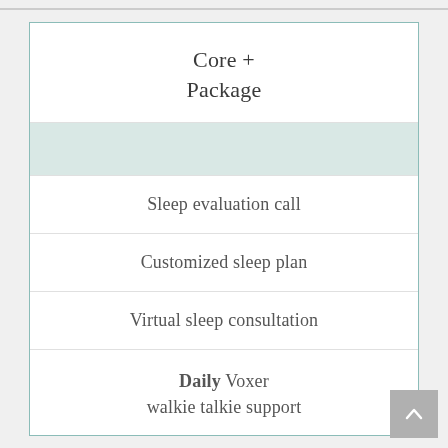Core + Package
Sleep evaluation call
Customized sleep plan
Virtual sleep consultation
Daily Voxer walkie talkie support